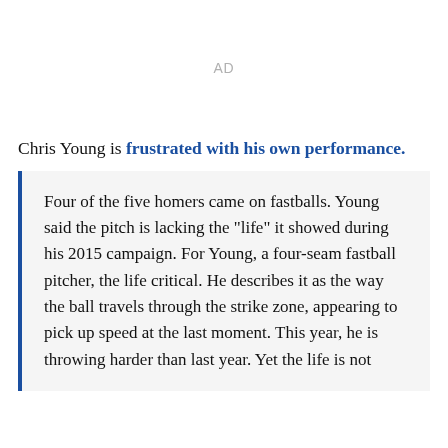AD
Chris Young is frustrated with his own performance.
Four of the five homers came on fastballs. Young said the pitch is lacking the "life" it showed during his 2015 campaign. For Young, a four-seam fastball pitcher, the life critical. He describes it as the way the ball travels through the strike zone, appearing to pick up speed at the last moment. This year, he is throwing harder than last year. Yet the life is not